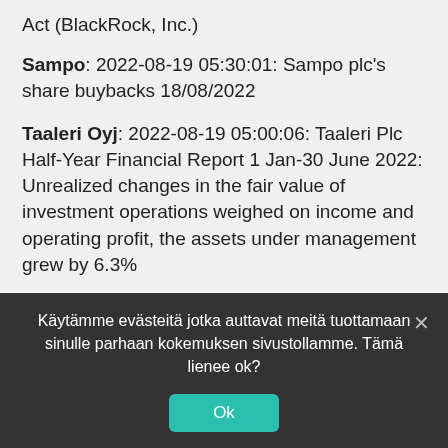Act (BlackRock, Inc.)
Sampo: 2022-08-19 05:30:01: Sampo plc's share buybacks 18/08/2022
Taaleri Oyj: 2022-08-19 05:00:06: Taaleri Plc Half-Year Financial Report 1 Jan-30 June 2022: Unrealized changes in the fair value of investment operations weighed on income and operating profit, the assets under management grew by 6.3%
Nokia: 2022-08-18 18:00:00: Nokia Corporation: Repurchase of own shares on 18.08.2022
Käytämme evästeitä jotka auttavat meitä tuottamaan sinulle parhaan kokemuksen sivustollamme. Tämä lienee ok?